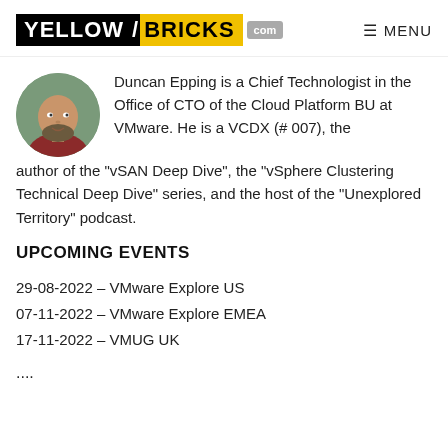YELLOW/BRICKS .com | MENU
[Figure (photo): Circular profile photo of Duncan Epping, a bald man with a beard wearing a red/maroon shirt, outdoors with green background]
Duncan Epping is a Chief Technologist in the Office of CTO of the Cloud Platform BU at VMware. He is a VCDX (# 007), the author of the "vSAN Deep Dive", the "vSphere Clustering Technical Deep Dive" series, and the host of the "Unexplored Territory" podcast.
UPCOMING EVENTS
29-08-2022 – VMware Explore US
07-11-2022 – VMware Explore EMEA
17-11-2022 – VMUG UK
....